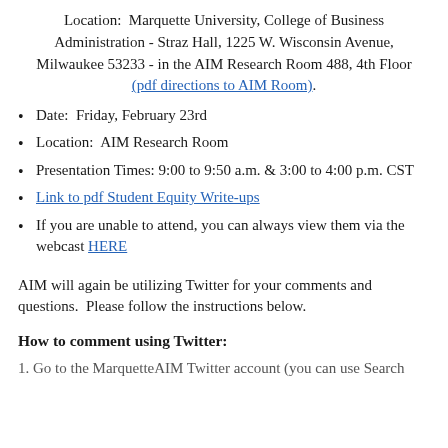Location:  Marquette University, College of Business Administration - Straz Hall, 1225 W. Wisconsin Avenue, Milwaukee 53233 - in the AIM Research Room 488, 4th Floor (pdf directions to AIM Room).
Date:  Friday, February 23rd
Location:  AIM Research Room
Presentation Times: 9:00 to 9:50 a.m. & 3:00 to 4:00 p.m. CST
Link to pdf Student Equity Write-ups
If you are unable to attend, you can always view them via the webcast HERE
AIM will again be utilizing Twitter for your comments and questions.  Please follow the instructions below.
How to comment using Twitter:
1. Go to the MarquetteAIM Twitter account (you can use Search